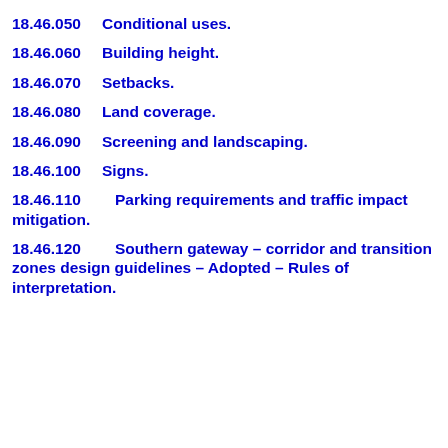18.46.050    Conditional uses.
18.46.060    Building height.
18.46.070    Setbacks.
18.46.080    Land coverage.
18.46.090    Screening and landscaping.
18.46.100    Signs.
18.46.110    Parking requirements and traffic impact mitigation.
18.46.120    Southern gateway – corridor and transition zones design guidelines – Adopted – Rules of interpretation.